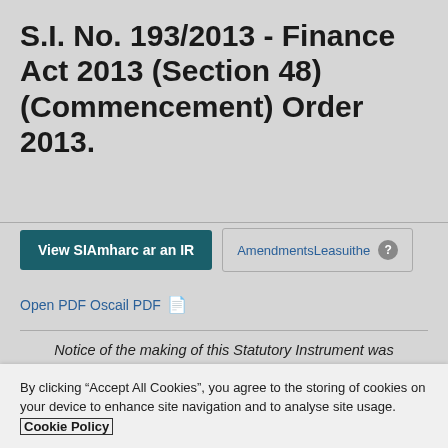S.I. No. 193/2013 - Finance Act 2013 (Section 48) (Commencement) Order 2013.
View SIAmharc ar an IR
AmendmentsLeasuithe
Open PDF Oscail PDF
Notice of the making of this Statutory Instrument was published in
“Iris Oifigiúil” of 14th June, 2013.
I, MICHAEL NOONAN, Minister for Finance, in exercise of the
By clicking “Accept All Cookies”, you agree to the storing of cookies on your device to enhance site navigation and to analyse site usage. Cookie Policy